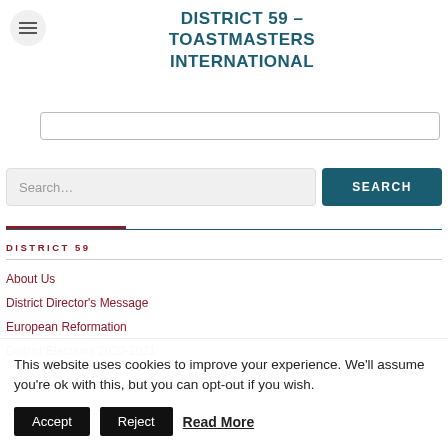DISTRICT 59 – TOASTMASTERS INTERNATIONAL
DISTRICT 59
About Us
District Director's Message
European Reformation
District Elections 2020-2021
This website uses cookies to improve your experience. We'll assume you're ok with this, but you can opt-out if you wish.